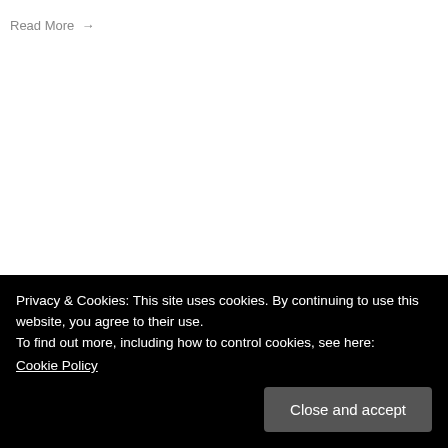Read More →
Privacy & Cookies: This site uses cookies. By continuing to use this website, you agree to their use.
To find out more, including how to control cookies, see here:
Cookie Policy
Close and accept